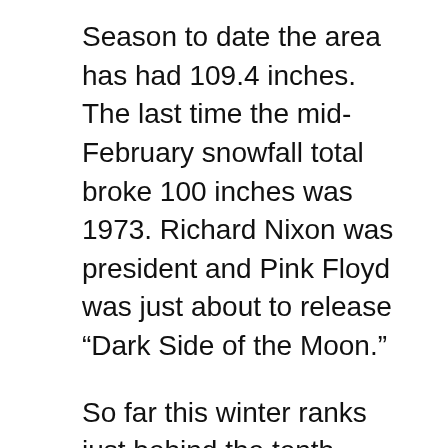Season to date the area has had 109.4 inches. The last time the mid-February snowfall total broke 100 inches was 1973. Richard Nixon was president and Pink Floyd was just about to release “Dark Side of the Moon.”
So far this winter ranks just behind the tenth snowiest season, which was 2000-2001 when 110.1 inches fell. That total was for the whole season, however, and with plenty of winter still left, 2007-2008 appears destined for the record book.
In fact, in one measure the current season has already cracked the top 10. On Valentine’s Day the 42 inch snow depth